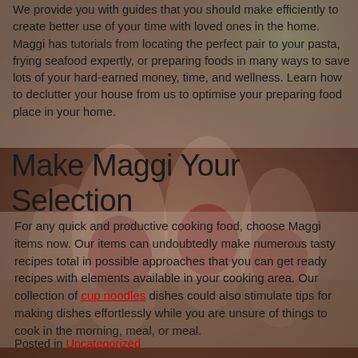[Figure (photo): Background photo of people toasting with glasses of red wine at a gathering, with blurred greenery in the background. The image spans the full page.]
We provide you with guides that you should make efficiently to create better use of your time with loved ones in the home. Maggi has tutorials from locating the perfect pair to your pasta, frying seafood expertly, or preparing foods in many ways to save lots of your hard-earned money, time, and wellness. Learn how to declutter your house from us to optimise your preparing food place in your home.
Make Maggi Your Selection
For any quick and productive cooking food, choose Maggi items now. Our items can undoubtedly make numerous tasty recipes total in possible approaches that you can get ready recipes with elements available in your cooking area. Our collection of cup noodles dishes could also stimulate tips for making dishes effortlessly while you are unsure of things to cook in the morning, meal, or meal.
Posted in Uncategorized